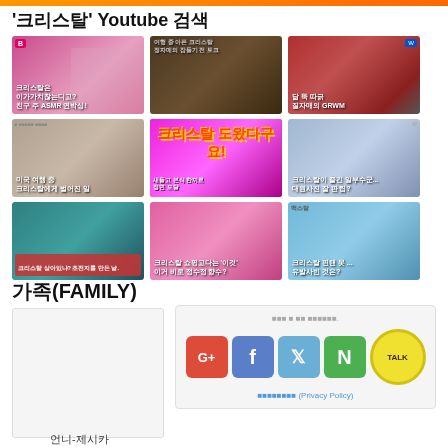'크리스탈' Youtube 검색
[Figure (photo): Grid of 9 YouTube video thumbnails related to '크리스탈' (Crystal) search results, arranged in 3 rows of 3 thumbnails each. Each thumbnail shows Korean text overlay on video screenshots.]
가족(FAMILY)
[Figure (photo): A bordered box on the left (family photo placeholder) and a social sharing widget on the right with Google+, Facebook, Twitter, Naver, and KakaoTalk buttons, plus a privacy policy link.]
언니-제시카